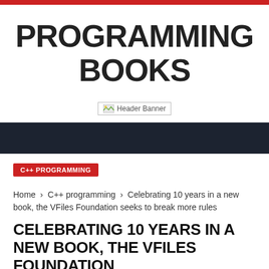PROGRAMMING BOOKS
[Figure (other): Header Banner image (broken/placeholder)]
C++ PROGRAMMING
Home › C++ programming › Celebrating 10 years in a new book, the VFiles Foundation seeks to break more rules
CELEBRATING 10 YEARS IN A NEW BOOK, THE VFILES FOUNDATION